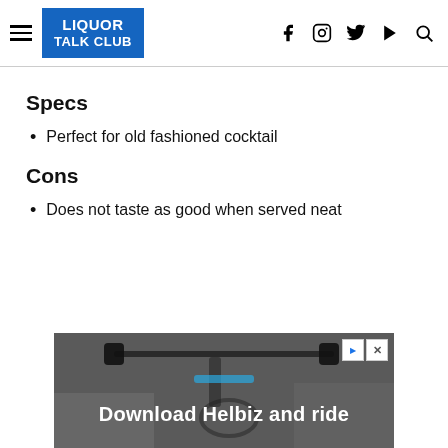LIQUOR TALK CLUB — navigation header with social icons
Specs
Perfect for old fashioned cocktail
Cons
Does not taste as good when served neat
[Figure (photo): Advertisement banner: scooter handlebar photo with text 'Download Helbiz and ride']